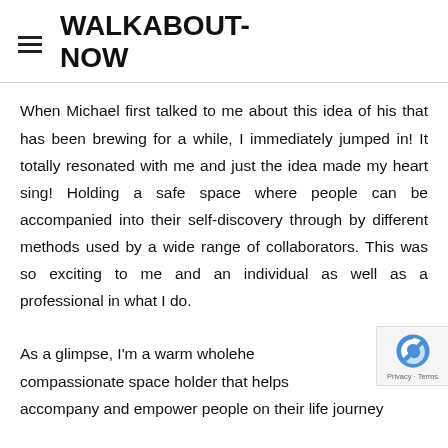WALKABOUT-NOW
When Michael first talked to me about this idea of his that has been brewing for a while, I immediately jumped in! It totally resonated with me and just the idea made my heart sing! Holding a safe space where people can be accompanied into their self-discovery through by different methods used by a wide range of collaborators. This was so exciting to me and an individual as well as a professional in what I do.
As a glimpse, I'm a warm wholehearted compassionate space holder that helps accompany and empower people on their life journey